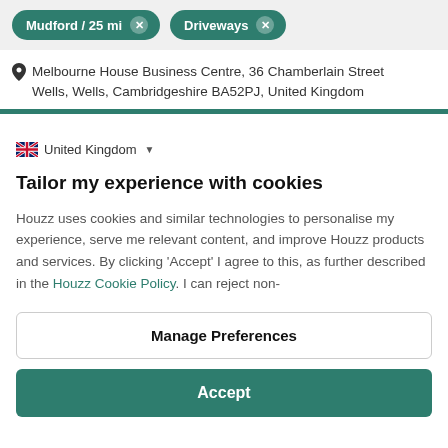Mudford / 25 mi  Driveways
Melbourne House Business Centre, 36 Chamberlain Street Wells, Wells, Cambridgeshire BA52PJ, United Kingdom
United Kingdom
Tailor my experience with cookies
Houzz uses cookies and similar technologies to personalise my experience, serve me relevant content, and improve Houzz products and services. By clicking 'Accept' I agree to this, as further described in the Houzz Cookie Policy. I can reject non-
Manage Preferences
Accept